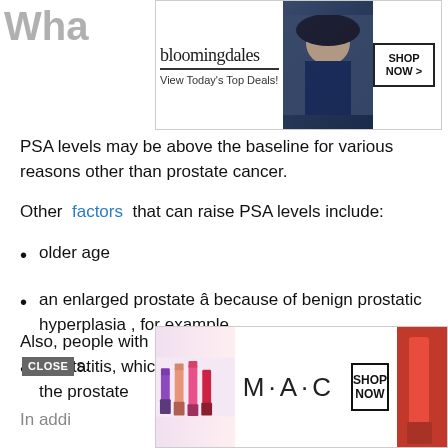Wha
[Figure (screenshot): Bloomingdale's advertisement banner: 'View Today's Top Deals! SHOP NOW >']
PSA levels may be above the baseline for various reasons other than prostate cancer.
Other factors that can raise PSA levels include:
older age
an enlarged prostate â because of benign prostatic hyperplasia , for example
prostatitis, which is inflammation and swelling of the prostate
Also, people with obesity may have lower PSA CLOSE s.
In addi
[Figure (screenshot): MAC cosmetics advertisement showing lipsticks: 'SHOP NOW']